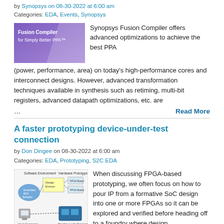by Synopsys on 08-30-2022 at 6:00 am
Categories: EDA, Events, Synopsys
[Figure (illustration): Fusion Compiler for Simply Better PPA promotional image with purple gradient background]
Synopsys Fusion Compiler offers advanced optimizations to achieve the best PPA (power, performance, area) on today’s high-performance cores and interconnect designs. However, advanced transformation techniques available in synthesis such as retiming, multi-bit registers, advanced datapath optimizations, etc. are
… Read More
A faster prototyping device-under-test connection
by Don Dingee on 08-30-2022 at 6:00 am
Categories: EDA, Prototyping, S2C EDA
[Figure (illustration): Diagram showing FPGA-based prototyping setup with Software Environment on left, Hardware Prototype on right, Host Computer and Prodigy Logic Systems at bottom]
When discussing FPGA-based prototyping, we often focus on how to pour IP from a formative SoC design into one or more FPGAs so it can be explored and verified before heading off to a foundry where design mistakes get expensive. There’s also the software development use case, jumpstarting coding for the SoC before silicon … Read More